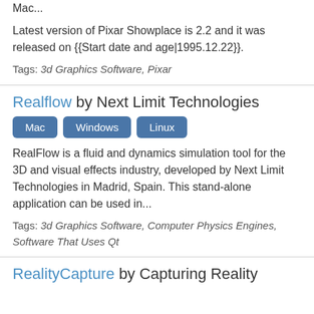Mac...
Latest version of Pixar Showplace is 2.2 and it was released on {{Start date and age|1995.12.22}}.
Tags: 3d Graphics Software, Pixar
Realflow by Next Limit Technologies
Mac  Windows  Linux
RealFlow is a fluid and dynamics simulation tool for the 3D and visual effects industry, developed by Next Limit Technologies in Madrid, Spain. This stand-alone application can be used in...
Tags: 3d Graphics Software, Computer Physics Engines, Software That Uses Qt
RealityCapture by Capturing Reality